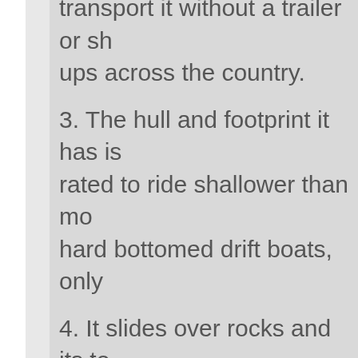2. You can donate the boat and transport it without a trailer or shop ups across the country.
3. The hull and footprint it has is rated to ride shallower than most hard bottomed drift boats, only ...
4. It slides over rocks and its tough PVC material allows you to drop in at tough locations where there aren't nice put in and take outs. Sliding it down a rocky bank is not a problem, where you have to worry about your gel coat and boat a ... more with fiberglass boats.